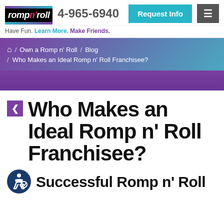romp n' roll | 4-965-6940 | Request Info
Have Fun. Learn More. Make Friends.
Home / Own a Romp n' Roll / Blog / Who Makes an Ideal Romp n' Roll Franchisee?
Who Makes an Ideal Romp n' Roll Franchisee?
Successful Romp n' Roll